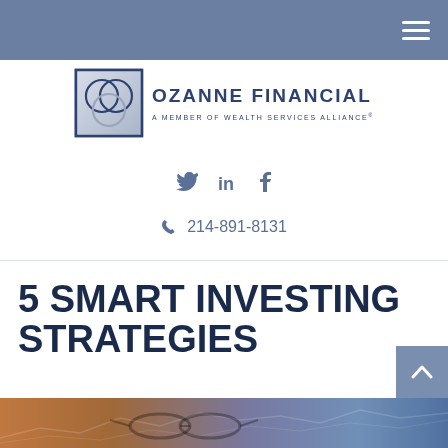[Figure (logo): Ozanne Financial logo - square icon with overlapping circles, text reads OZANNE FINANCIAL A Member of Wealth Services Alliance]
214-891-8131
5 SMART INVESTING STRATEGIES
[Figure (photo): Bottom strip showing glasses resting on financial charts/documents with warm orange and blue tones]